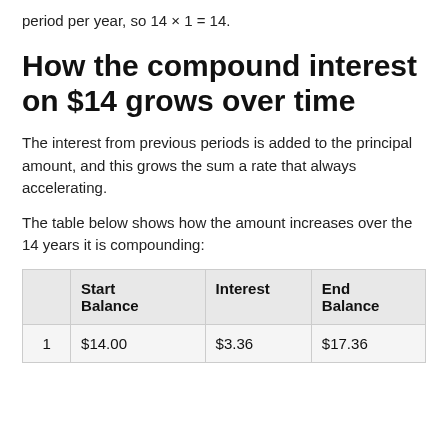period per year, so 14 × 1 = 14.
How the compound interest on $14 grows over time
The interest from previous periods is added to the principal amount, and this grows the sum a rate that always accelerating.
The table below shows how the amount increases over the 14 years it is compounding:
|  | Start Balance | Interest | End Balance |
| --- | --- | --- | --- |
| 1 | $14.00 | $3.36 | $17.36 |